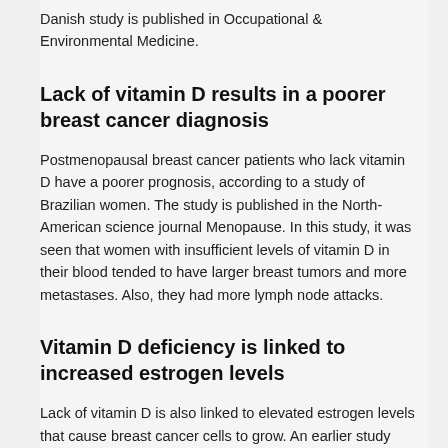Danish study is published in Occupational & Environmental Medicine.
Lack of vitamin D results in a poorer breast cancer diagnosis
Postmenopausal breast cancer patients who lack vitamin D have a poorer prognosis, according to a study of Brazilian women. The study is published in the North-American science journal Menopause. In this study, it was seen that women with insufficient levels of vitamin D in their blood tended to have larger breast tumors and more metastases. Also, they had more lymph node attacks.
Vitamin D deficiency is linked to increased estrogen levels
Lack of vitamin D is also linked to elevated estrogen levels that cause breast cancer cells to grow. An earlier study from Fred Hutchinson Cancer Research Center, Seattle, USA, shows that supplementing with 50 micrograms of vitamin D for one year lowers estrogen levels in the blood and therefore reduces the risk of breast cancer. This even applies to overweight women